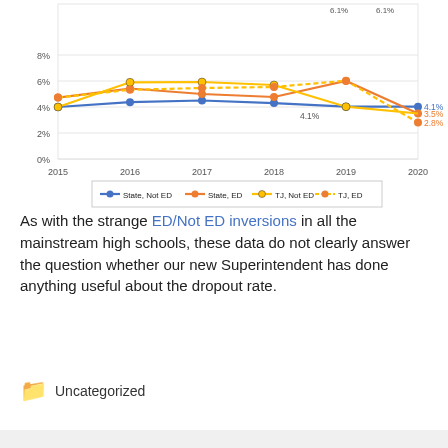[Figure (line-chart): ]
As with the strange ED/Not ED inversions in all the mainstream high schools, these data do not clearly answer the question whether our new Superintendent has done anything useful about the dropout rate.
Uncategorized